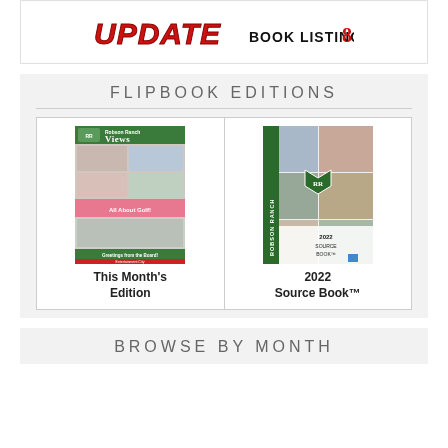[Figure (logo): UPDATE BOOK LISTING logo with red italic text and black bold subtitle]
FLIPBOOK EDITIONS
[Figure (illustration): Two flipbook covers side by side: 'Robson Ranch Views - This Month's Edition' and '2022 Source Book']
This Month's Edition
2022 Source Book™
BROWSE BY MONTH